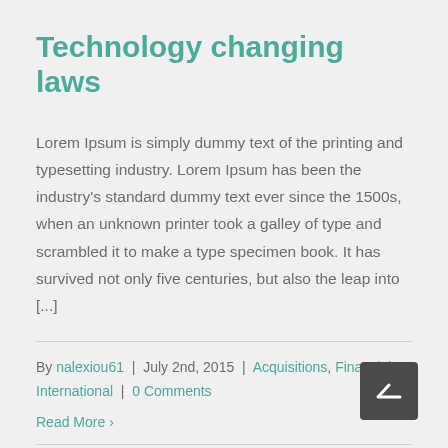Technology changing laws
Lorem Ipsum is simply dummy text of the printing and typesetting industry. Lorem Ipsum has been the industry's standard dummy text ever since the 1500s, when an unknown printer took a galley of type and scrambled it to make a type specimen book. It has survived not only five centuries, but also the leap into [...]
By nalexiou61 | July 2nd, 2015 | Acquisitions, Financial, International | 0 Comments
Read More >